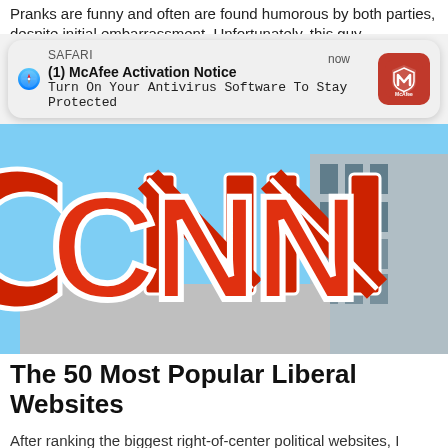Pranks are funny and often are found humorous by both parties, despite initial embarrassment. Unfortunately, this guy
[Figure (screenshot): Safari browser push notification from McAfee: '(1) McAfee Activation Notice – Turn On Your Antivirus Software To Stay Protected']
[Figure (photo): CNN logo in red letters mounted on building exterior with blue sky background]
The 50 Most Popular Liberal Websites
After ranking the biggest right-of-center political websites, I thought it might be interesting to see which left-of-center websites receive the most traffic. So, I went ...
[Figure (photo): Partial photo of a person's face, cropped at bottom of page]